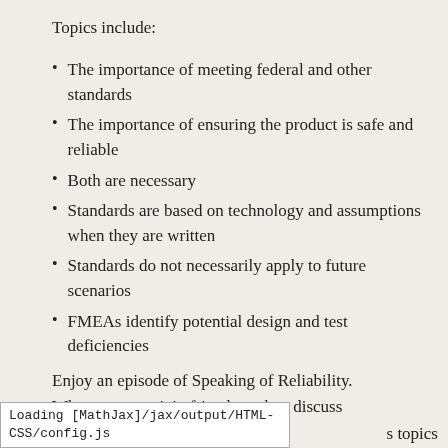Topics include:
The importance of meeting federal and other standards
The importance of ensuring the product is safe and reliable
Both are necessary
Standards are based on technology and assumptions when they are written
Standards do not necessarily apply to future scenarios
FMEAs identify potential design and test deficiencies
Enjoy an episode of Speaking of Reliability. Where you can join friends as they discuss
Loading [MathJax]/jax/output/HTML-CSS/config.js   s topics